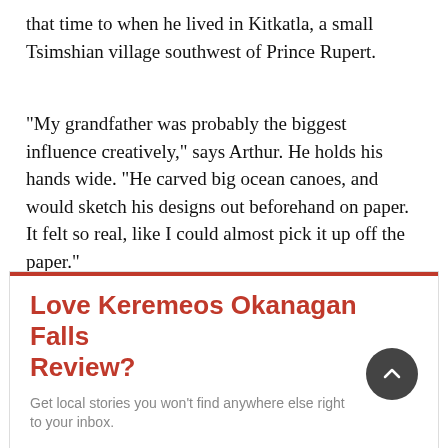that time to when he lived in Kitkatla, a small Tsimshian village southwest of Prince Rupert.
“My grandfather was probably the biggest influence creatively,” says Arthur. He holds his hands wide. “He carved big ocean canoes, and would sketch his designs out beforehand on paper. It felt so real, like I could almost pick it up off the paper.”
Love Keremeos Okanagan Falls Review?
Get local stories you won’t find anywhere else right to your inbox.
Email Required